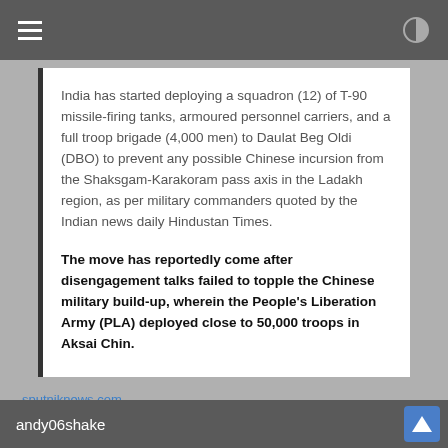India has started deploying a squadron (12) of T-90 missile-firing tanks, armoured personnel carriers, and a full troop brigade (4,000 men) to Daulat Beg Oldi (DBO) to prevent any possible Chinese incursion from the Shaksgam-Karakoram pass axis in the Ladakh region, as per military commanders quoted by the Indian news daily Hindustan Times.
The move has reportedly come after disengagement talks failed to topple the Chinese military build-up, wherein the People's Liberation Army (PLA) deployed close to 50,000 troops in Aksai Chin.
sputniknews.com...
andy06shake